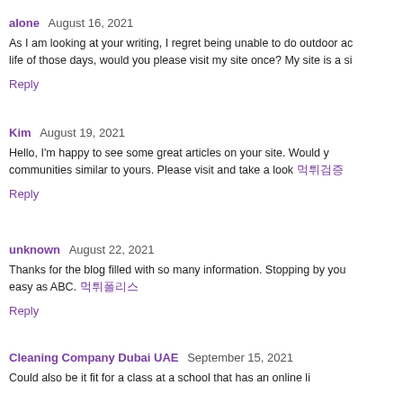alone  August 16, 2021
As I am looking at your writing, I regret being unable to do outdoor ac life of those days, would you please visit my site once? My site is a si
Reply
Kim  August 19, 2021
Hello, I'm happy to see some great articles on your site. Would y communities similar to yours. Please visit and take a look 먹튀검증
Reply
unknown  August 22, 2021
Thanks for the blog filled with so many information. Stopping by you easy as ABC. 먹튀폴리스
Reply
Cleaning Company Dubai UAE  September 15, 2021
Could also be it fit for a class at a school that has an online li